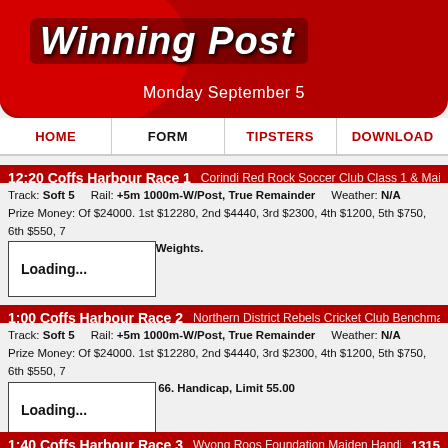Winning Post
Monday September 5
HOME | FORM | TIPSTERS | DOWNLOAD
12:20 Coffs Harbour Race 1  Corindi Red Rock Soccer Club Class 1 & Maiden R
Track: Soft 5    Rail: +5m 1000m-W/Post, True Remainder    Weather: N/A
Prize Money: Of $24000. 1st $12280, 2nd $4440, 3rd $2300, 4th $1200, 5th $750, 6th $550, 7...
Race Details: CLASS 1. Set Weights.
Loading...
1:00 Coffs Harbour Race 2  Northern District Rebels Cricket Club Benchmark 66
Track: Soft 5    Rail: +5m 1000m-W/Post, True Remainder    Weather: N/A
Prize Money: Of $24000. 1st $12280, 2nd $4440, 3rd $2300, 4th $1200, 5th $750, 6th $550, 7...
Race Details: BENCHMARK 66. Handicap, Limit 55.00
Loading...
1:40 Coffs Harbour Race 3  Wyong Roos Foundation Maiden Handicap  1315
Track: Soft 5    Rail: +5m 1000m-W/Post, True Remainder    Weather: N/A
Prize Money: Of $24000. 1st $12280, 2nd $4440, 3rd $2300, 4th $1200, 5th $750, 6th $550, 7...